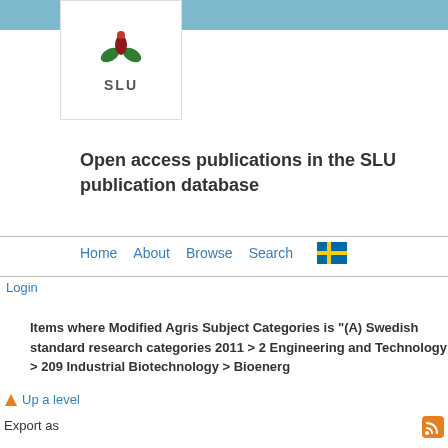[Figure (logo): SLU logo with stylized green and red plant/bird motif above the text 'SLU']
Open access publications in the SLU publication database
Home   About   Browse   Search   [Swedish flag icon]
Login
Items where Modified Agris Subject Categories is "(A) Swedish standard research categories 2011 > 2 Engineering and Technology > 209 Industrial Biotechnology > Bioenerg
Up a level
Export as